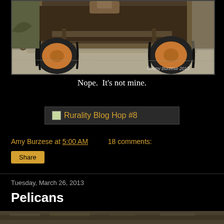[Figure (photo): Underside/rear of a muddy off-road vehicle or truck with large knobby tires on a concrete surface. Watermark: © Amy Burzese 2013]
Nope.  It's not mine.
[Figure (screenshot): Banner/button for Rurality Blog Hop #8 with small image icon]
Amy Burzese at 5:00 AM    18 comments:
Share
Tuesday, March 26, 2013
Pelicans
[Figure (photo): Partial view of another blog post photo, partially cut off at bottom of page]